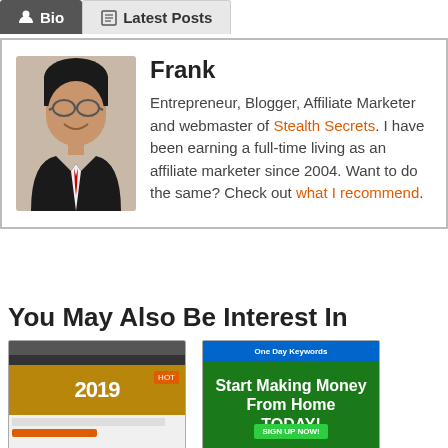Bio | Latest Posts
Frank
Entrepreneur, Blogger, Affiliate Marketer and webmaster of Stealth Secrets. I have been earning a full-time living as an affiliate marketer since 2004. Want to do the same? Check out what I recommend.
You May Also Be Interest In
[Figure (screenshot): Screenshot thumbnail of a website with gold/yellow content and '2019' text]
[Figure (screenshot): Screenshot thumbnail of a website with blue/green header and 'Start Making Money From Home TODAY!' text]